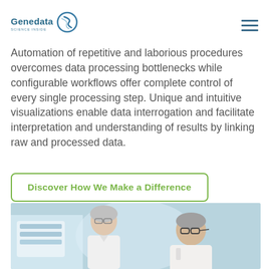Genedata
Automation of repetitive and laborious procedures overcomes data processing bottlenecks while configurable workflows offer complete control of every single processing step. Unique and intuitive visualizations enable data interrogation and facilitate interpretation and understanding of results by linking raw and processed data.
Discover How We Make a Difference
[Figure (photo): Two scientists (a woman and a man) looking at something in a laboratory setting, both wearing glasses and lab coats]